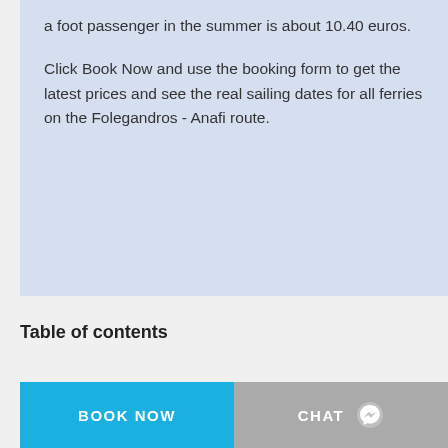a foot passenger in the summer is about 10.40 euros.

Click Book Now and use the booking form to get the latest prices and see the real sailing dates for all ferries on the Folegandros - Anafi route.
Table of contents
BOOK NOW
CHAT